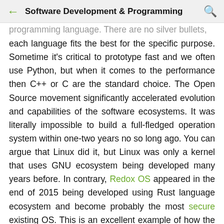Software Development & Programming
programming language. There are no silver bullets, each language fits the best for the specific purpose. Sometime it's critical to prototype fast and we often use Python, but when it comes to the performance then C++ or C are the standard choice. The Open Source movement significantly accelerated evolution and capabilities of the software ecosystems. It was literally impossible to build a full-fledged operation system within one-two years no so long ago. You can argue that Linux did it, but Linux was only a kernel that uses GNU ecosystem being developed many years before. In contrary, Redox OS appeared in the end of 2015 being developed using Rust language ecosystem and become probably the most secure existing OS. This is an excellent example of how the language selection impacts the project destiny (execution speed, reliability, security, development community, etc.).